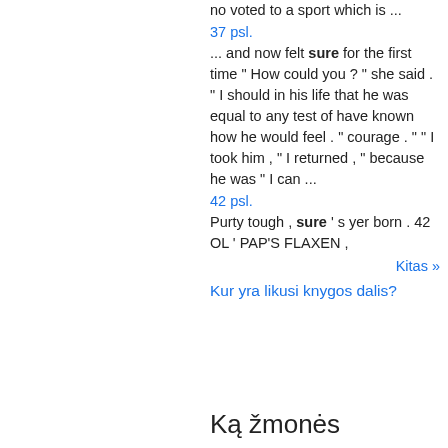no voted to a sport which is ...
37 psl.
... and now felt sure for the first time " How could you ? " she said . " I should in his life that he was equal to any test of have known how he would feel . " courage . " " I took him , " I returned , " because he was " I can ...
42 psl.
Purty tough , sure ' s yer born . 42 OL ' PAP'S FLAXEN ,
Kitas »
Kur yra likusi knygos dalis?
Ką žmonės